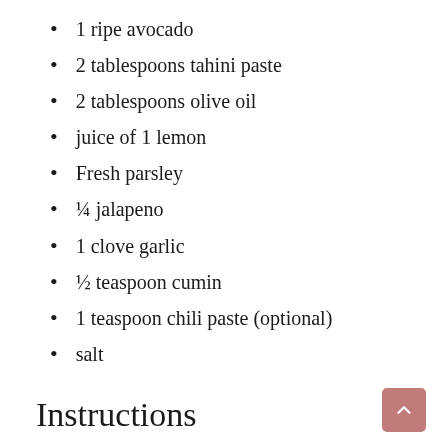1 ripe avocado
2 tablespoons tahini paste
2 tablespoons olive oil
juice of 1 lemon
Fresh parsley
¼ jalapeno
1 clove garlic
½ teaspoon cumin
1 teaspoon chili paste (optional)
salt
Instructions
Preheat oven to 400 degrees F.
Arrange sweet potatoes on a baking sheet. Drizzle with a bit of oil. Bake for 10-20 minutes or until the sweet